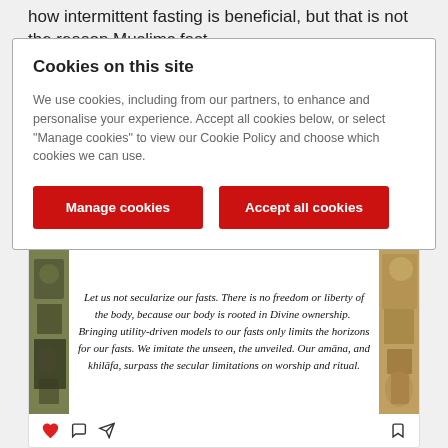how intermittent fasting is beneficial, but that is not the reason Muslims fast.
Cookies on this site
We use cookies, including from our partners, to enhance and personalise your experience. Accept all cookies below, or select "Manage cookies" to view our Cookie Policy and choose which cookies we can use.
Manage cookies | Accept all cookies
[Figure (screenshot): Instagram post with decorative manuscript images on sides and centered quote text: 'Let us not secularize our fasts. There is no freedom or liberty of the body, because our body is rooted in Divine ownership. Bringing utility-driven models to our fasts only limits the horizons for our fasts. We imitate the unseen, the unveiled. Our amāna, and khilāfa, surpass the secular limitations on worship and ritual.' with social action icons below.]